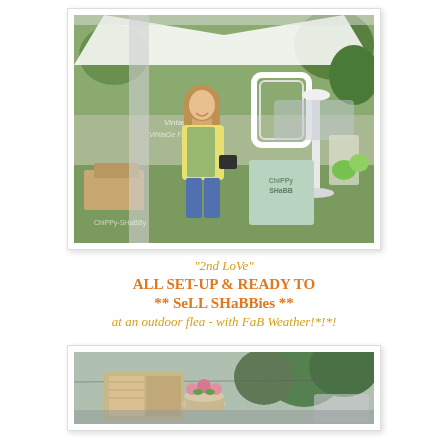[Figure (photo): Woman standing at an outdoor flea market booth with shabby chic vintage items, white ornate frames, and a tent in the background. Sign reads 'Vintage Finds' and 'Chippy Shabby'.]
"2nd LoVe"
ALL SET-UP & READY TO
** SoLL SHaBBies **
at an outdoor flea - with FaB Weather!*!*!
[Figure (photo): Outdoor flea market display showing rustic wooden furniture and flower planters with trees in the background.]